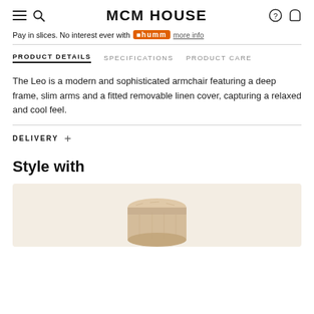MCM HOUSE
Pay in slices. No interest ever with humm more info
PRODUCT DETAILS   SPECIFICATIONS   PRODUCT CARE
The Leo is a modern and sophisticated armchair featuring a deep frame, slim arms and a fitted removable linen cover, capturing a relaxed and cool feel.
DELIVERY +
Style with
[Figure (photo): Photo of a light wood round stool/side table on a warm beige background]